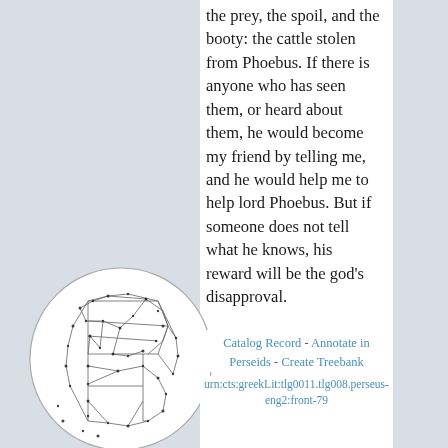the prey, the spoil, and the booty: the cattle stolen from Phoebus. If there is anyone who has seen them, or heard about them, he would become my friend by telling me, and he would help me to help lord Phoebus. But if someone does not tell what he knows, his reward will be the god’s disapproval.
[Figure (logo): Perseus Digital Library logo: a circular emblem with a geometric wireframe letter P made of interconnected nodes and lines on a light background]
Catalog Record - Annotate in Perseids - Create Treebank
urn:cts:greekLit:tlg0011.tlg008.perseus-eng2:front-79